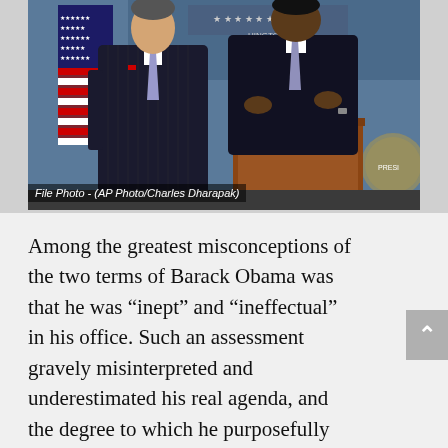[Figure (photo): Two men in dark suits standing at a White House press briefing room podium. American flags visible in background. One man gestures with hands.]
File Photo - (AP Photo/Charles Dharapak)
Among the greatest misconceptions of the two terms of Barack Obama was that he was “inept” and “ineffectual” in his office. Such an assessment gravely misinterpreted and underestimated his real agenda, and the degree to which he purposefully carried it out. Were Obama merely guilty of incompetence, he might